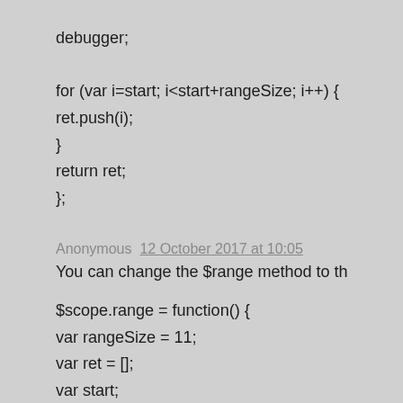debugger;

for (var i=start; i<start+rangeSize; i++) {
ret.push(i);
}
return ret;
};
Anonymous  12 October 2017 at 10:05
You can change the $range method to th
$scope.range = function() {
var rangeSize = 11;
var ret = [];
var start;